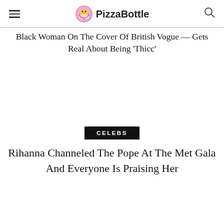PizzaBottle
Black Woman On The Cover Of British Vogue — Gets Real About Being 'Thicc'
CELEBS
Rihanna Channeled The Pope At The Met Gala And Everyone Is Praising Her